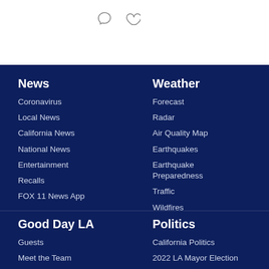[Figure (screenshot): Top white bar with two outline icons: a speech bubble and a heart, on white background with a horizontal divider line below.]
News
Coronavirus
Local News
California News
National News
Entertainment
Recalls
FOX 11 News App
Weather
Forecast
Radar
Air Quality Map
Earthquakes
Earthquake Preparedness
Traffic
Wildfires
Good Day LA
Guests
Meet the Team
Politics
California Politics
2022 LA Mayor Election